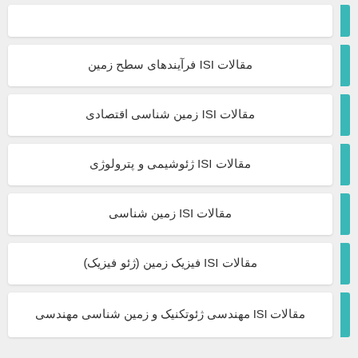مقالات ISI فرآیندهای سطح زمین
مقالات ISI زمین شناسی اقتصادی
مقالات ISI ژئوشیمی و پترولوژی
مقالات ISI زمین شناسی
مقالات ISI فیزیک زمین (ژئو فیزیک)
مقالات ISI مهندسی ژئوتکنیک و زمین شناسی مهندسی